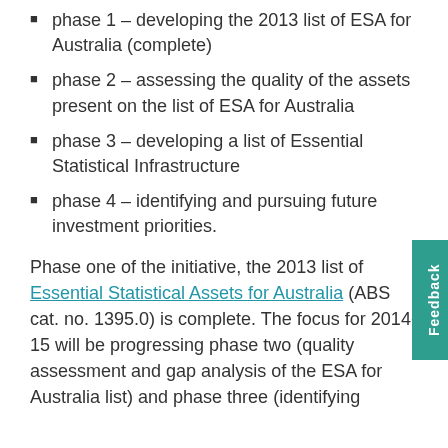phase 1 – developing the 2013 list of ESA for Australia (complete)
phase 2 – assessing the quality of the assets present on the list of ESA for Australia
phase 3 – developing a list of Essential Statistical Infrastructure
phase 4 – identifying and pursuing future investment priorities.
Phase one of the initiative, the 2013 list of Essential Statistical Assets for Australia (ABS cat. no. 1395.0) is complete. The focus for 2014-15 will be progressing phase two (quality assessment and gap analysis of the ESA for Australia list) and phase three (identifying